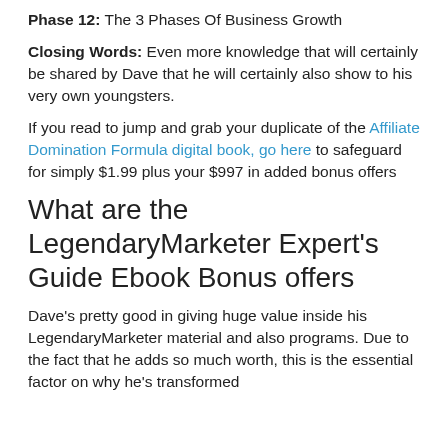Phase 12: The 3 Phases Of Business Growth
Closing Words: Even more knowledge that will certainly be shared by Dave that he will certainly also show to his very own youngsters.
If you read to jump and grab your duplicate of the Affiliate Domination Formula digital book, go here to safeguard for simply $1.99 plus your $997 in added bonus offers
What are the LegendaryMarketer Expert's Guide Ebook Bonus offers
Dave's pretty good in giving huge value inside his LegendaryMarketer material and also programs. Due to the fact that he adds so much worth, this is the essential factor on why he's transformed